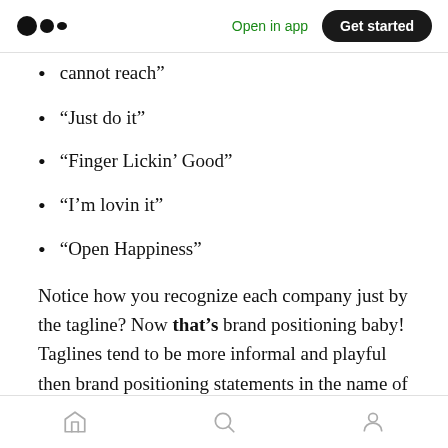Medium app header — Open in app | Get started
cannot reach”
“Just do it”
“Finger Lickin’ Good”
“I’m lovin it”
“Open Happiness”
Notice how you recognize each company just by the tagline? Now that’s brand positioning baby! Taglines tend to be more informal and playful then brand positioning statements in the name of
Bottom navigation bar — Home, Search, Profile